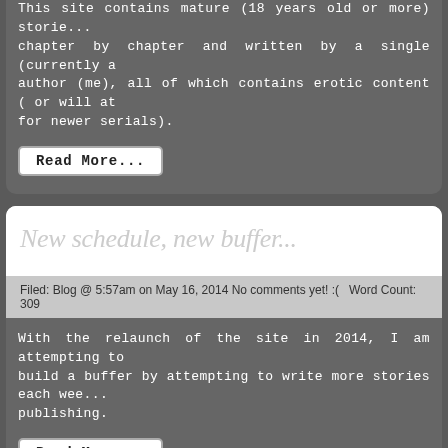This site contains mature (18 years old or more) stories, chapter by chapter and written by a single (currently a) author (me), all of which contains erotic content ( or will at for newer serials).
Read More...
New schedule, new buffer...
Filed: Blog @ 5:57am on May 16, 2014 No comments yet! :(   Word Count: 309
With the relaunch of the site in 2014, I am attempting to build a buffer by attempting to write more stories each week publishing.
Read More...
Chapter 15: After School
Sam